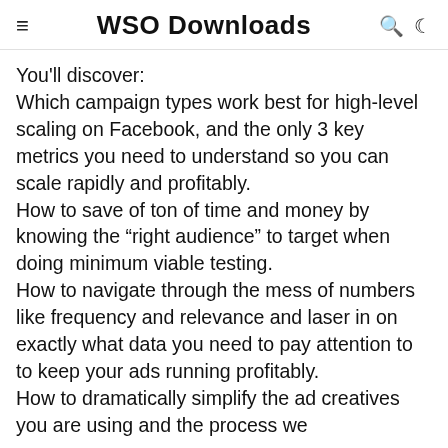WSO Downloads
You'll discover:
Which campaign types work best for high-level scaling on Facebook, and the only 3 key metrics you need to understand so you can scale rapidly and profitably.
How to save of ton of time and money by knowing the “right audience” to target when doing minimum viable testing.
How to navigate through the mess of numbers like frequency and relevance and laser in on exactly what data you need to pay attention to to keep your ads running profitably.
How to dramatically simplify the ad creatives you are using and the process we